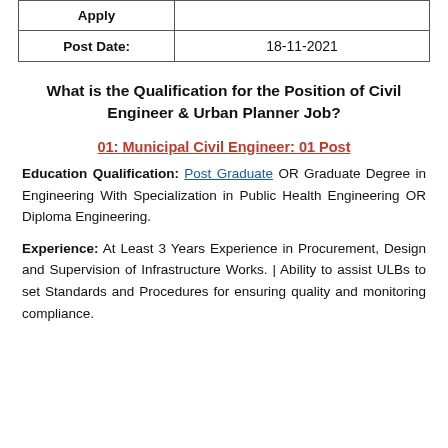| Apply |  |
| --- | --- |
| Post Date: | 18-11-2021 |
What is the Qualification for the Position of Civil Engineer & Urban Planner Job?
01: Municipal Civil Engineer: 01 Post
Education Qualification: Post Graduate OR Graduate Degree in Engineering With Specialization in Public Health Engineering OR Diploma Engineering.
Experience: At Least 3 Years Experience in Procurement, Design and Supervision of Infrastructure Works. | Ability to assist ULBs to set Standards and Procedures for ensuring quality and monitoring compliance.